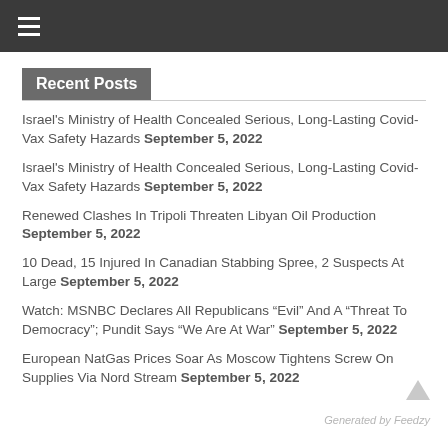≡
Recent Posts
Israel's Ministry of Health Concealed Serious, Long-Lasting Covid-Vax Safety Hazards September 5, 2022
Israel's Ministry of Health Concealed Serious, Long-Lasting Covid-Vax Safety Hazards September 5, 2022
Renewed Clashes In Tripoli Threaten Libyan Oil Production September 5, 2022
10 Dead, 15 Injured In Canadian Stabbing Spree, 2 Suspects At Large September 5, 2022
Watch: MSNBC Declares All Republicans “Evil” And A “Threat To Democracy”; Pundit Says “We Are At War” September 5, 2022
European NatGas Prices Soar As Moscow Tightens Screw On Supplies Via Nord Stream September 5, 2022